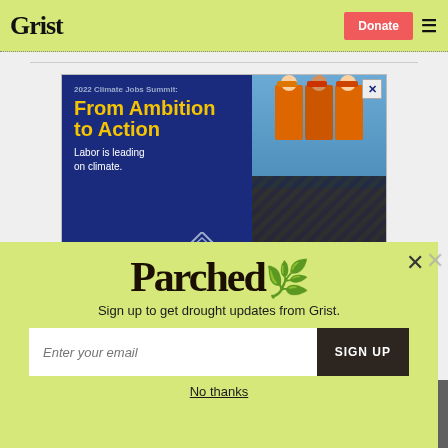Grist  Donate  ☰
[Figure (infographic): Advertisement for 2022 Climate Jobs Summit: From Ambition to Action — Labor is leading on climate. Climate Jobs National Resource Center. Shows workers in orange safety vests holding a solar panel against a blue sky.]
Parched
Sign up to get drought updates from Grist.
Enter your email  SIGN UP
No thanks